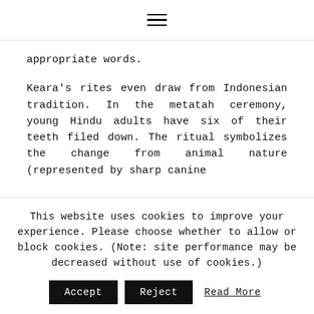≡
appropriate words.
Keara's rites even draw from Indonesian tradition. In the metatah ceremony, young Hindu adults have six of their teeth filed down. The ritual symbolizes the change from animal nature (represented by sharp canine
This website uses cookies to improve your experience. Please choose whether to allow or block cookies. (Note: site performance may be decreased without use of cookies.)
Accept   Reject   Read More